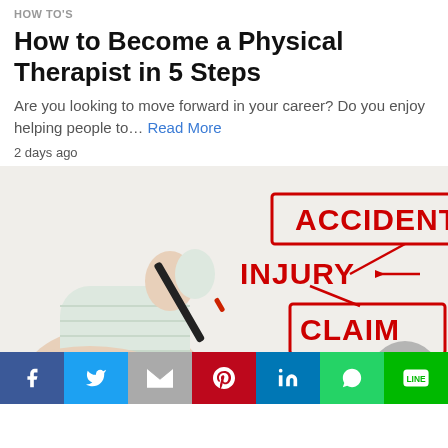HOW TO'S
How to Become a Physical Therapist in 5 Steps
Are you looking to move forward in your career? Do you enjoy helping people to… Read More
2 days ago
[Figure (photo): Bandaged hand holding a pen with overlaid red text labels: ACCIDENT, INJURY, CLAIM, COMPENSATION, arranged in a cascading diagram. Bottom row shows social media share buttons for Facebook, Twitter, Gmail, Pinterest, LinkedIn, WhatsApp, and Line.]